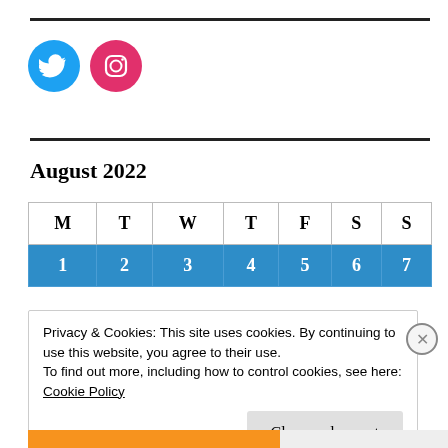[Figure (logo): Twitter bird icon (blue circle) and Instagram camera icon (pink/magenta circle)]
August 2022
| M | T | W | T | F | S | S |
| --- | --- | --- | --- | --- | --- | --- |
| 1 | 2 | 3 | 4 | 5 | 6 | 7 |
Privacy & Cookies: This site uses cookies. By continuing to use this website, you agree to their use.
To find out more, including how to control cookies, see here:
Cookie Policy
Close and accept